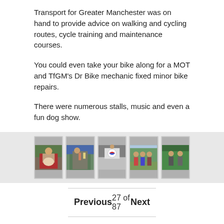Transport for Greater Manchester was on hand to provide advice on walking and cycling routes, cycle training and maintenance courses.
You could even take your bike along for a MOT and TfGM's Dr Bike mechanic fixed minor bike repairs.
There were numerous stalls, music and even a fun dog show.
[Figure (photo): Row of five photographs from Family fun day Stamford Park event showing attendees, stalls, and activities.]
| Previous | 27 of 87 | Next |
| --- | --- | --- |
Family fun day Stamford Park (27)